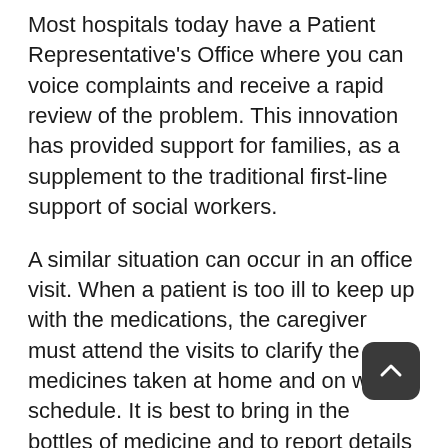Most hospitals today have a Patient Representative's Office where you can voice complaints and receive a rapid review of the problem. This innovation has provided support for families, as a supplement to the traditional first-line support of social workers.
A similar situation can occur in an office visit. When a patient is too ill to keep up with the medications, the caregiver must attend the visits to clarify the medicines taken at home and on which schedule. It is best to bring in the bottles of medicine and to report details to the doctor that the patient may forget. Make notes of the doctor's instructions concerning medications and signs that a problem may be occurring. Ask for a written daily calendar of